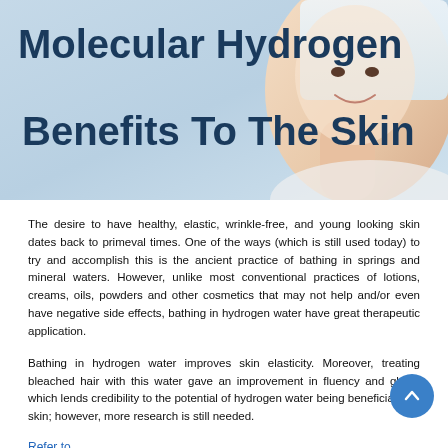[Figure (photo): Banner image with text 'Molecular Hydrogen Benefits To The Skin' overlaid on a light blue background with a smiling woman holding a towel]
The desire to have healthy, elastic, wrinkle-free, and young looking skin dates back to primeval times. One of the ways (which is still used today) to try and accomplish this is the ancient practice of bathing in springs and mineral waters. However, unlike most conventional practices of lotions, creams, oils, powders and other cosmetics that may not help and/or even have negative side effects, bathing in hydrogen water have great therapeutic application.
Bathing in hydrogen water improves skin elasticity. Moreover, treating bleached hair with this water gave an improvement in fluency and gloss, which lends credibility to the potential of hydrogen water being beneficial with skin; however, more research is still needed.
Refer to